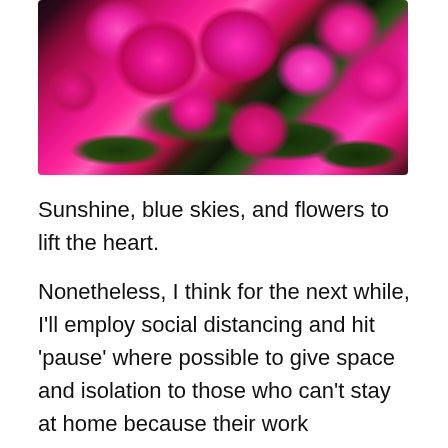[Figure (photo): Close-up photograph of bright pink/magenta primrose flowers with yellow centers and dark green textured leaves]
Sunshine, blue skies, and flowers to lift the heart.
Nonetheless, I think for the next while, I'll employ social distancing and hit 'pause' where possible to give space and isolation to those who can't stay at home because their work commitments call upon them to be out and about.
Bless you and thank you: